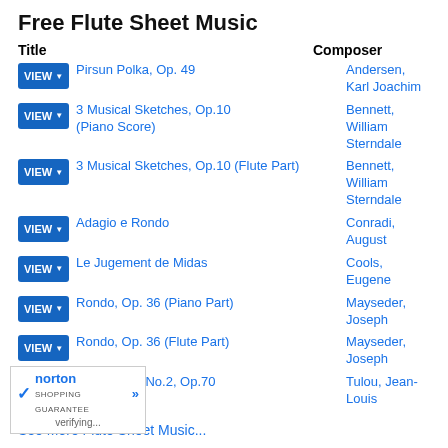Free Flute Sheet Music
| Title | Composer |
| --- | --- |
| Pirsun Polka, Op. 49 | Andersen, Karl Joachim |
| 3 Musical Sketches, Op.10 (Piano Score) | Bennett, William Sterndale |
| 3 Musical Sketches, Op.10 (Flute Part) | Bennett, William Sterndale |
| Adagio e Rondo | Conradi, August |
| Le Jugement de Midas | Cools, Eugene |
| Rondo, Op. 36 (Piano Part) | Mayseder, Joseph |
| Rondo, Op. 36 (Flute Part) | Mayseder, Joseph |
| Grand Solo No.2, Op.70 | Tulou, Jean-Louis |
See More Flute Sheet Music...
Free Sheet Music Plus Newsletter
Sign up for our free sheet music newsletter to find out about our monthly specials. (It's easy to unsubscribe later.) We always have a wide assortment of titles on sale and work closely with publishers to discount entire catalogs of periods. Your email address is kept private and will not be rented to any other party. We look forward to hearing from you! scounts and coupons.